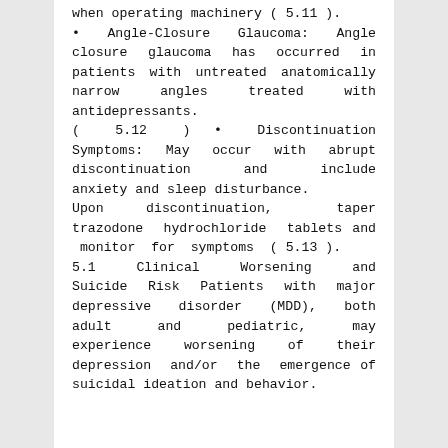when operating machinery ( 5.11 ).
• Angle-Closure Glaucoma: Angle closure glaucoma has occurred in patients with untreated anatomically narrow angles treated with antidepressants.
( 5.12 ) • Discontinuation Symptoms: May occur with abrupt discontinuation and include anxiety and sleep disturbance.
Upon discontinuation, taper trazodone hydrochloride tablets and monitor for symptoms ( 5.13 ).
5.1 Clinical Worsening and Suicide Risk
Patients with major depressive disorder (MDD), both adult and pediatric, may experience worsening of their depression and/or the emergence of suicidal ideation and behavior.